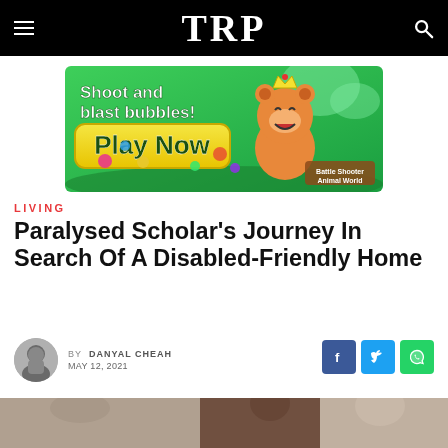TRP
[Figure (illustration): Colorful mobile game advertisement banner: 'Shoot and blast bubbles! Play Now' with animated bear character. Battle Shooter Animal World.]
LIVING
Paralysed Scholar's Journey In Search Of A Disabled-Friendly Home
BY DANYAL CHEAH
MAY 12, 2021